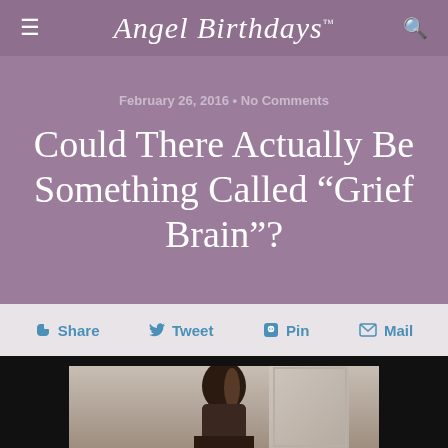Angel Birthdays™
February 26, 2016 • No Comments
Could There Actually Be Something Called “Grief Brain”?
Share  Tweet  Pin  Mail
[Figure (photo): Photo of a dark-haired woman, shown from approximately the shoulders up, against a light background with a door visible. Image is cropped at the bottom of the page.]